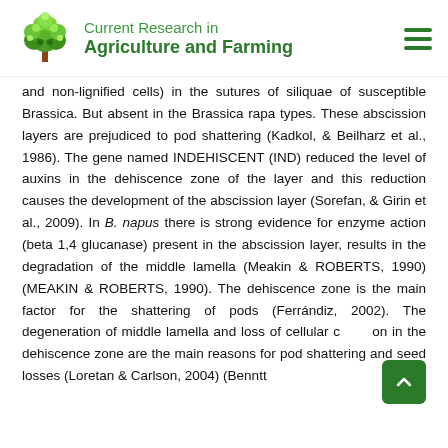Current Research in Agriculture and Farming
and non-lignified cells) in the sutures of siliquae of susceptible Brassica. But absent in the Brassica rapa types. These abscission layers are prejudiced to pod shattering (Kadkol, & Beilharz et al., 1986). The gene named INDEHISCENT (IND) reduced the level of auxins in the dehiscence zone of the layer and this reduction causes the development of the abscission layer (Sorefan, & Girin et al., 2009). In B. napus there is strong evidence for enzyme action (beta 1,4 glucanase) present in the abscission layer, results in the degradation of the middle lamella (Meakin & ROBERTS, 1990) (MEAKIN & ROBERTS, 1990). The dehiscence zone is the main factor for the shattering of pods (Ferrándiz, 2002). The degeneration of middle lamella and loss of cellular cohesion in the dehiscence zone are the main reasons for pod shattering and seed losses (Loretan & Carlson, 2004) (Benntt...